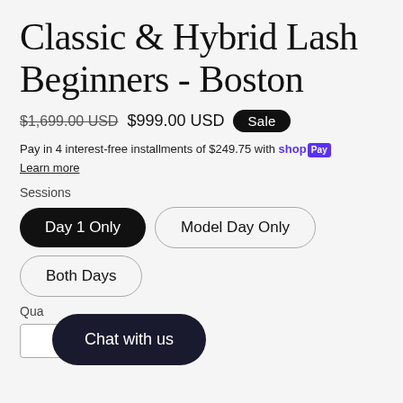Classic & Hybrid Lash Beginners - Boston
$1,699.00 USD  $999.00 USD  Sale
Pay in 4 interest-free installments of $249.75 with shopPay
Learn more
Sessions
Day 1 Only
Model Day Only
Both Days
Quantity
Chat with us